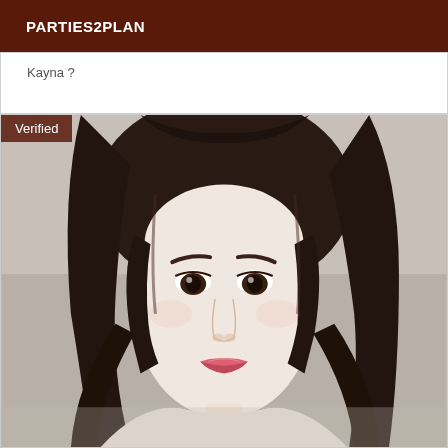PARTIES2PLAN
Kayna ?
[Figure (photo): Portrait photo of a young woman with long dark hair, pale complexion, subtle makeup, wearing casual clothing. A 'Verified' badge overlay appears in the top-left corner of the image.]